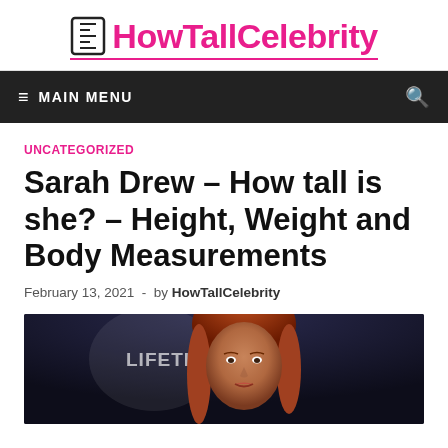HowTallCelebrity
≡ MAIN MENU
UNCATEGORIZED
Sarah Drew – How tall is she? – Height, Weight and Body Measurements
February 13, 2021 - by HowTallCelebrity
[Figure (photo): Photo of Sarah Drew at a Lifetime event, showing a woman with auburn/red hair against a dark background with a circular Lifetime logo]